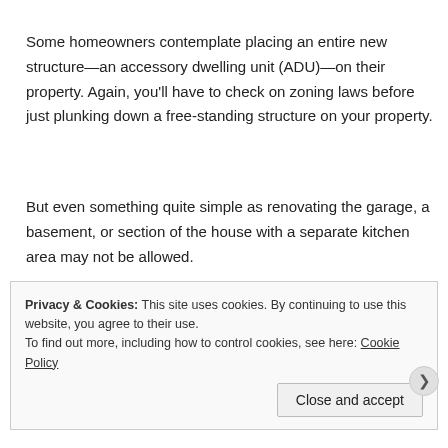Some homeowners contemplate placing an entire new structure—an accessory dwelling unit (ADU)—on their property. Again, you'll have to check on zoning laws before just plunking down a free-standing structure on your property.
But even something quite simple as renovating the garage, a basement, or section of the house with a separate kitchen area may not be allowed.
Privacy & Cookies: This site uses cookies. By continuing to use this website, you agree to their use.
To find out more, including how to control cookies, see here: Cookie Policy